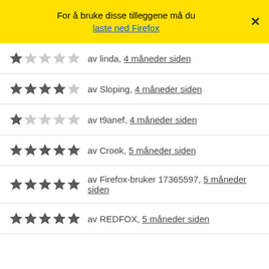For å bruke disse tilleggene må du laste ned Firefox
★☆☆☆☆ av linda, 4 måneder siden
★★★★☆ av Sloping, 4 måneder siden
★☆☆☆☆ av t9anef, 4 måneder siden
★★★★★ av Crook, 5 måneder siden
★★★★★ av Firefox-bruker 17365597, 5 måneder siden
★★★★★ av REDFOX, 5 måneder siden